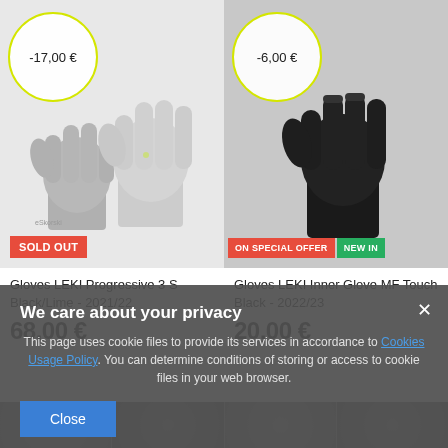[Figure (photo): Gray LEKI ski gloves product photo with yellow circle discount badge showing -17,00 € and SOLD OUT red badge]
-17,00 €
SOLD OUT
[Figure (photo): Black LEKI inner glove product photo with yellow circle discount badge showing -6,00 €, ON SPECIAL OFFER red badge and NEW IN green badge]
-6,00 €
ON SPECIAL OFFER
NEW IN
Gloves LEKI Progressive 3 S Black/Lime - 2021/22
68,00 €
Gloves LEKI Inner Glove MF Touch Black - 2022/23
20,00 €
We care about your privacy
This page uses cookie files to provide its services in accordance to Cookies Usage Policy. You can determine conditions of storing or access to cookie files in your web browser.
Close